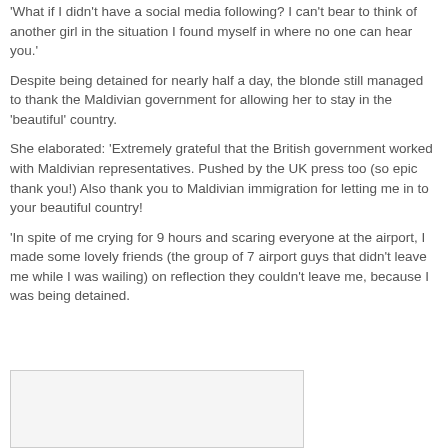'What if I didn't have a social media following? I can't bear to think of another girl in the situation I found myself in where no one can hear you.'
Despite being detained for nearly half a day, the blonde still managed to thank the Maldivian government for allowing her to stay in the 'beautiful' country.
She elaborated: 'Extremely grateful that the British government worked with Maldivian representatives. Pushed by the UK press too (so epic thank you!) Also thank you to Maldivian immigration for letting me in to your beautiful country!
'In spite of me crying for 9 hours and scaring everyone at the airport, I made some lovely friends (the group of 7 airport guys that didn't leave me while I was wailing) on reflection they couldn't leave me, because I was being detained.
[Figure (photo): Partial image at bottom of page, appears to be a photo, mostly cut off]